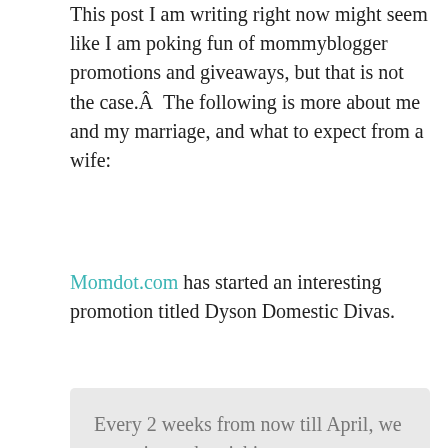This post I am writing right now might seem like I am poking fun of mommyblogger promotions and giveaways, but that is not the case.Â  The following is more about me and my marriage, and what to expect from a wife:
Momdot.com has started an interesting promotion titled Dyson Domestic Divas.
Every 2 weeks from now till April, we are going to be picking a new mom to spend a full two weeks with our Dyson and then come on as a Dyson Domestic Diva and give everyone the lowdown on it. Comparing it to your current household cleaning, your vacuum that you use on a daily basis, the all around ins and outs of how you feel about the Dyson after spending 2 weeks with it in your home. You will be able to blog during your experience from set up to the